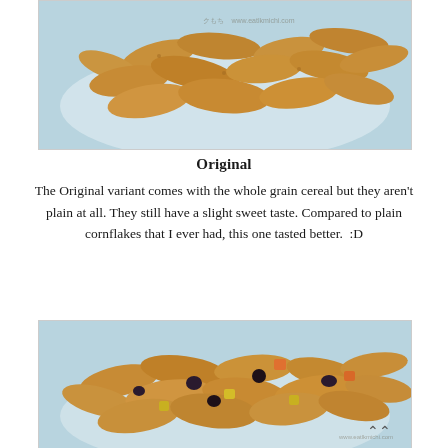[Figure (photo): Photo of whole grain cereal flakes on a white plate, light blue background]
Original
The Original variant comes with the whole grain cereal but they aren't plain at all. They still have a slight sweet taste. Compared to plain cornflakes that I ever had, this one tasted better.  :D
[Figure (photo): Photo of whole grain cereal flakes mixed with dried fruit pieces (raisins, apricot, pineapple) on a white plate, light blue background]